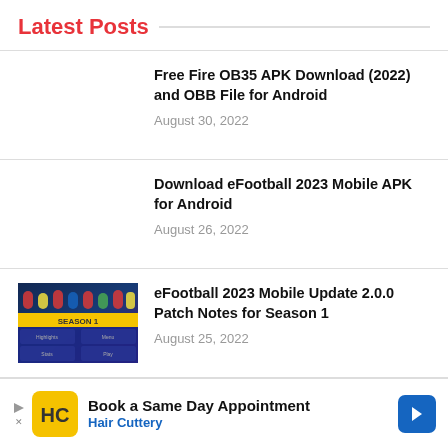Latest Posts
Free Fire OB35 APK Download (2022) and OBB File for Android
August 30, 2022
Download eFootball 2023 Mobile APK for Android
August 26, 2022
eFootball 2023 Mobile Update 2.0.0 Patch Notes for Season 1
August 25, 2022
eFootball 2023 v2.0.0 Update Patch
[Figure (photo): eFootball 2023 Season 1 mobile update screenshot with team players and menu UI]
[Figure (photo): Soccer player portrait (Neymar) in yellow jersey against stadium background]
[Figure (screenshot): Hair Cuttery advertisement banner: Book a Same Day Appointment]